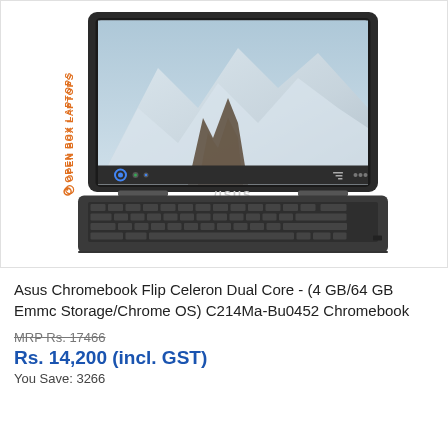[Figure (photo): ASUS Chromebook Flip laptop shown open with keyboard visible, displaying a nature wallpaper on screen. Product shown on white background inside a bordered product card. A vertical orange 'OPEN BOX LAPTOPS' label with recycling icon appears on the left side of the image area.]
Asus Chromebook Flip Celeron Dual Core - (4 GB/64 GB Emmc Storage/Chrome OS) C214Ma-Bu0452 Chromebook
MRP Rs. 17466
Rs. 14,200 (incl. GST)
You Save: 3266